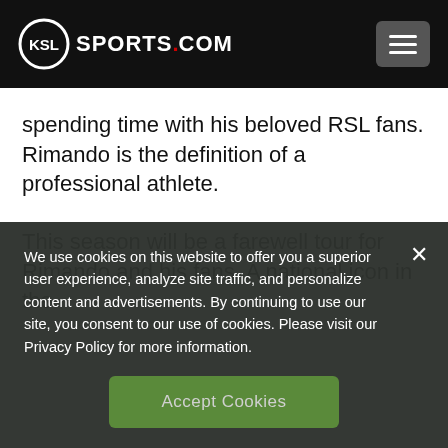KSL SPORTS.COM
spending time with his beloved RSL fans. Rimando is the definition of a professional athlete.
This season will be a farewell tour for Rimando and his fans. A national icon in the
We use cookies on this website to offer you a superior user experience, analyze site traffic, and personalize content and advertisements. By continuing to use our site, you consent to our use of cookies. Please visit our Privacy Policy for more information.
Accept Cookies